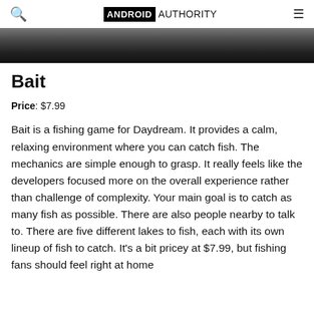ANDROID AUTHORITY
[Figure (photo): Partial hero image showing people's legs and feet at the bottom, dark overlay at top, cropped screenshot from Android Authority website]
Bait
Price: $7.99
Bait is a fishing game for Daydream. It provides a calm, relaxing environment where you can catch fish. The mechanics are simple enough to grasp. It really feels like the developers focused more on the overall experience rather than challenge of complexity. Your main goal is to catch as many fish as possible. There are also people nearby to talk to. There are five different lakes to fish, each with its own lineup of fish to catch. It’s a bit pricey at $7.99, but fishing fans should feel right at home